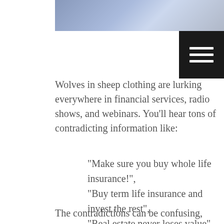[Figure (photo): Partial photo strip of people at top of page]
[Figure (other): Hamburger menu icon button (black square with three white horizontal lines)]
Wolves in sheep clothing are lurking everywhere in financial services, radio shows, and webinars. You'll hear tons of contradicting information like:
“Make sure you buy whole life insurance!”,
“Buy term life insurance and invest the rest”,
“Real estate never loses value”,
“being a landlord is a nightmare”,
“Invest in your business, and you’ll never go wrong”……
The contradictions can be confusing, and